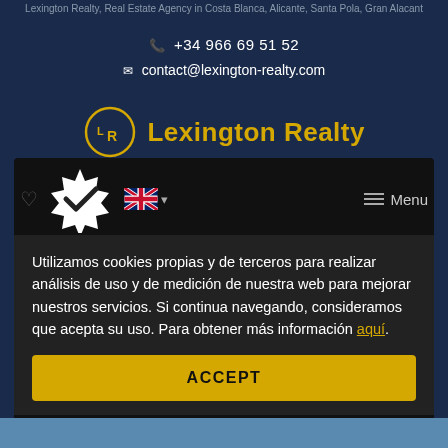Lexington Realty, Real Estate Agency in Costa Blanca, Alicante, Santa Pola, Gran Alacant
+34 966 69 51 52
contact@lexington-realty.com
[Figure (logo): Lexington Realty logo with circular LR monogram in gold and company name in gold text]
[Figure (screenshot): Website header with verified badge overlay, heart icon, UK flag language selector, hamburger Menu button]
Utilizamos cookies propias y de terceros para realizar análisis de uso y de medición de nuestra web para mejorar nuestros servicios. Si continua navegando, consideramos que acepta su uso. Para obtener más información aquí.
ACCEPT